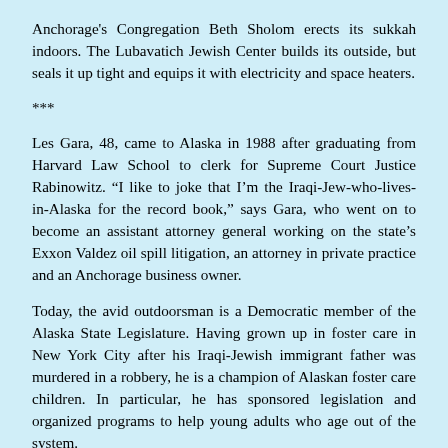Anchorage's Congregation Beth Sholom erects its sukkah indoors. The Lubavatich Jewish Center builds its outside, but seals it up tight and equips it with electricity and space heaters.
***
Les Gara, 48, came to Alaska in 1988 after graduating from Harvard Law School to clerk for Supreme Court Justice Rabinowitz. “I like to joke that I’m the Iraqi-Jew-who-lives-in-Alaska for the record book,” says Gara, who went on to become an assistant attorney general working on the state’s Exxon Valdez oil spill litigation, an attorney in private practice and an Anchorage business owner.
Today, the avid outdoorsman is a Democratic member of the Alaska State Legislature. Having grown up in foster care in New York City after his Iraqi-Jewish immigrant father was murdered in a robbery, he is a champion of Alaskan foster care children. In particular, he has sponsored legislation and organized programs to help young adults who age out of the system.
Alaska started out as a Democratic state, but for the last 30 years has been staunchly Republican. Nevertheless, most of the Jews who have gone into politics in Alaska are Democrats like Gara. Being Jewish, however, is a non-issue in a state w